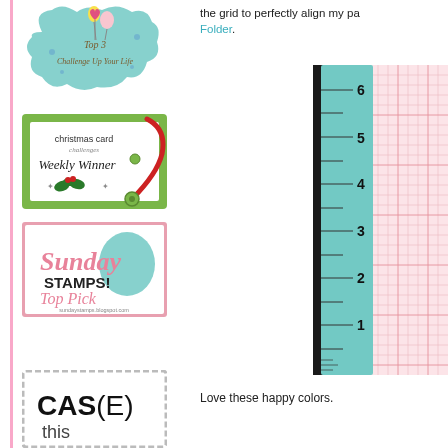the grid to perfectly align my pa... Folder.
[Figure (logo): Top 3 Challenge Up Your Life badge - teal decorative shape with balloons and text]
[Figure (logo): Christmas Card Challenges Weekly Winner badge - green with holly decoration]
[Figure (logo): Sunday Stamps Top Pick badge - white with pink and teal text]
[Figure (logo): CAS(E) this... badge - gray frame with bold text]
[Figure (photo): Photo of a teal ruler/scoring board with grid paper, showing measurements from 1 to 6 inches]
Love these happy colors.